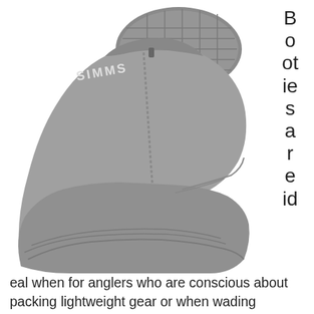[Figure (photo): Photo of Simms wading booties (gray neoprene boots with textured sole and zipper), shown from two angles. The SIMMS logo is visible on the upper. To the right of the image, vertical text reads 'Booties are ideal']
eal when for anglers who are conscious about packing lightweight gear or when wading sessions may be a just short jaunt from the flats boat. Simple, durable, and lightweight, the Simms Zipit Bootie 2 will protect your feet on long stalks across the flats. With a YKK corrosion-resistant locking zipper, the bootie slides on and off easily for quick changes and